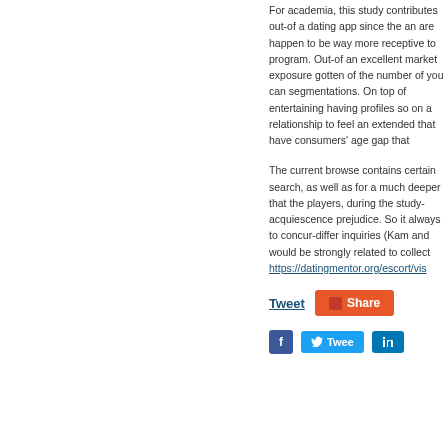For academia, this study contribu... out-of a dating app since the an a... happen to be way more receptive... program. Out-of an excellent mar... exposure gotten of the number of... you can segmentations. On top o... entertaining having profiles so on... a relationship to feel an extended... that have consumers' age gap tha...
The current browse contains cert... search, as well as for a much dee... that the players, during the study... acquiescence prejudice. So it alw... to concur-differ inquiries (Kam an... would be strongly related to colle... https://datingmentor.org/escort/vis...
Tweet  Share
f  Tweet  in